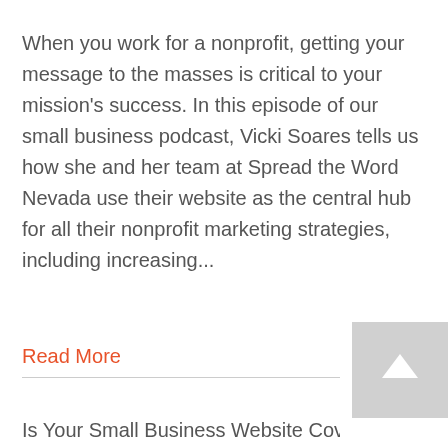When you work for a nonprofit, getting your message to the masses is critical to your mission's success. In this episode of our small business podcast, Vicki Soares tells us how she and her team at Spread the Word Nevada use their website as the central hub for all their nonprofit marketing strategies, including increasing...
Read More
Is Your Small Business Website Cove...